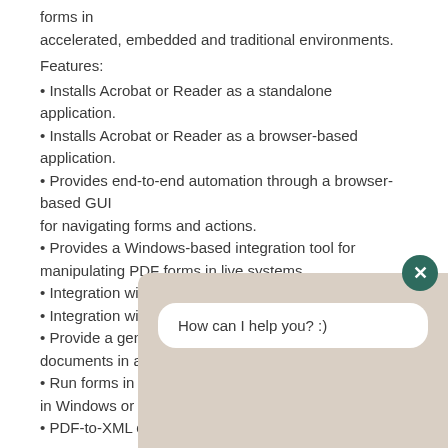forms in accelerated, embedded and traditional environments.
Features:
• Installs Acrobat or Reader as a standalone application.
• Installs Acrobat or Reader as a browser-based application.
• Provides end-to-end automation through a browser-based GUI for navigating forms and actions.
• Provides a Windows-based integration tool for manipulating PDF forms in live systems.
• Integration with SAP.
• Integration with LiveCycle.
• Provide a generic PDF viewer that displays PDF documents in a PDF...
• Run forms in acc... in Windows or Linu...
• PDF-to-XML conv...
[Figure (screenshot): Chat widget overlay with close button (X) in dark teal circle and speech bubble saying 'How can I help you? :)']